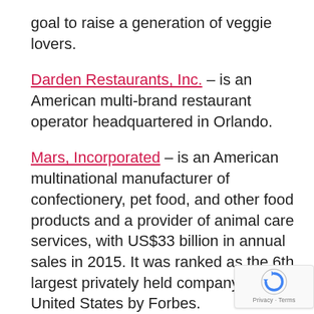goal to raise a generation of veggie lovers.
Darden Restaurants, Inc. – is an American multi-brand restaurant operator headquartered in Orlando.
Mars, Incorporated – is an American multinational manufacturer of confectionery, pet food, and other food products and a provider of animal care services, with US$33 billion in annual sales in 2015. It was ranked as the 6th largest privately held company in the United States by Forbes.
PepsiCo, Inc. – is an American multinational food, snack, and beverage corporation headquartered in Harrison, New York, in the hamlet of Purchase. PepsiCo has interests in the manufacturing,